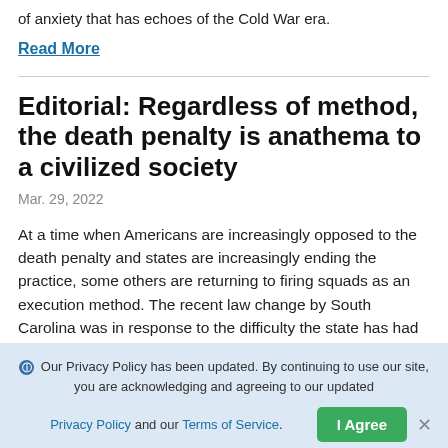of anxiety that has echoes of the Cold War era.
Read More
Editorial: Regardless of method, the death penalty is anathema to a civilized society
Mar. 29, 2022
At a time when Americans are increasingly opposed to the death penalty and states are increasingly ending the practice, some others are returning to firing squads as an execution method. The recent law change by South Carolina was in response to the difficulty the state has had in finding lethal injection drugs. It’s an
Our Privacy Policy has been updated. By continuing to use our site, you are acknowledging and agreeing to our updated Privacy Policy and our Terms of Service.